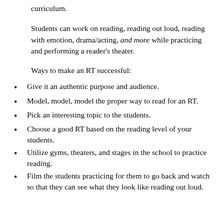curriculum.
Students can work on reading, reading out loud, reading with emotion, drama/acting, and more while practicing and performing a reader's theater.
Ways to make an RT successful:
Give it an authentic purpose and audience.
Model, model, model the proper way to read for an RT.
Pick an interesting topic to the students.
Choose a good RT based on the reading level of your students.
Utilize gyms, theaters, and stages in the school to practice reading.
Film the students practicing for them to go back and watch so that they can see what they look like reading out loud.